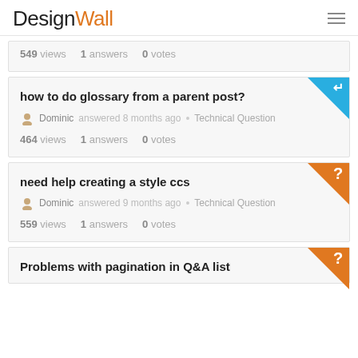DesignWall
549 views  1 answers  0 votes
how to do glossary from a parent post?
Dominic answered 8 months ago • Technical Question
464 views  1 answers  0 votes
need help creating a style ccs
Dominic answered 9 months ago • Technical Question
559 views  1 answers  0 votes
Problems with pagination in Q&A list